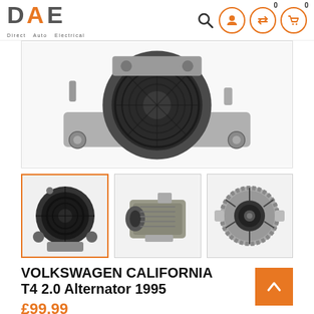[Figure (logo): DAE Direct Auto Electrical logo with orange accent letters]
[Figure (photo): Main product photo of alternator back view showing fan and mounting brackets]
[Figure (photo): Thumbnail 1 (active/selected): back view of alternator with orange border]
[Figure (photo): Thumbnail 2: side view of alternator]
[Figure (photo): Thumbnail 3: front view of alternator pulley]
VOLKSWAGEN CALIFORNIA T4 2.0 Alternator 1995
£99.99